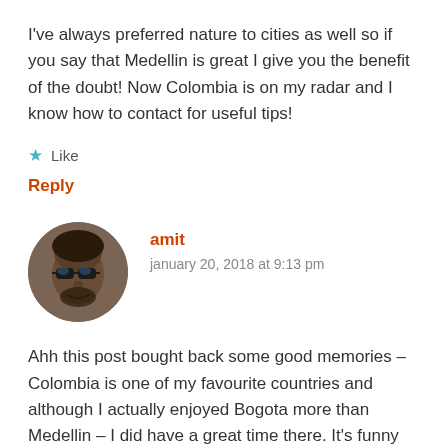I've always preferred nature to cities as well so if you say that Medellin is great I give you the benefit of the doubt! Now Colombia is on my radar and I know how to contact for useful tips!
Like
Reply
amit
january 20, 2018 at 9:13 pm
[Figure (photo): Circular avatar photo of a man with sunglasses, outdoors]
Ahh this post bought back some good memories – Colombia is one of my favourite countries and although I actually enjoyed Bogota more than Medellin – I did have a great time there. It's funny